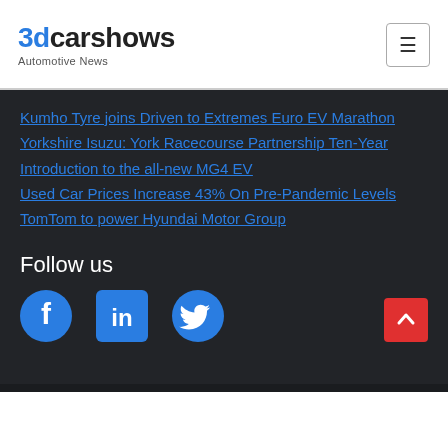3dcarshows Automotive News
Kumho Tyre joins Driven to Extremes Euro EV Marathon
Yorkshire Isuzu: York Racecourse Partnership Ten-Year
Introduction to the all-new MG4 EV
Used Car Prices Increase 43% On Pre-Pandemic Levels
TomTom to power Hyundai Motor Group
Follow us
[Figure (illustration): Social media icons: Facebook, LinkedIn, Twitter (blue icons on dark background)]